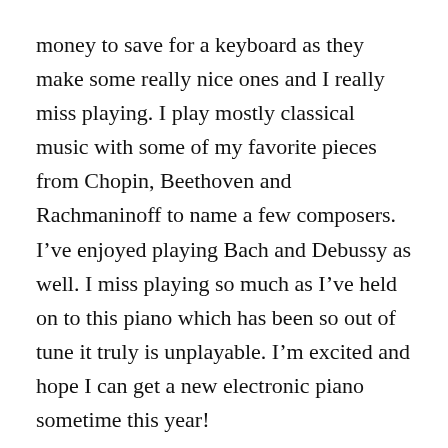money to save for a keyboard as they make some really nice ones and I really miss playing. I play mostly classical music with some of my favorite pieces from Chopin, Beethoven and Rachmaninoff to name a few composers. I've enjoyed playing Bach and Debussy as well. I miss playing so much as I've held on to this piano which has been so out of tune it truly is unplayable. I'm excited and hope I can get a new electronic piano sometime this year!
Can I get you a refill? I have some Swedish pancakes I made for dinner tonight. I wanted a light dinner and these crepe like pancakes were perfect filled with a little sour cream and raspberry jam. Yummy! I enjoyed them very much and I will eat light if I have a big lunch. My